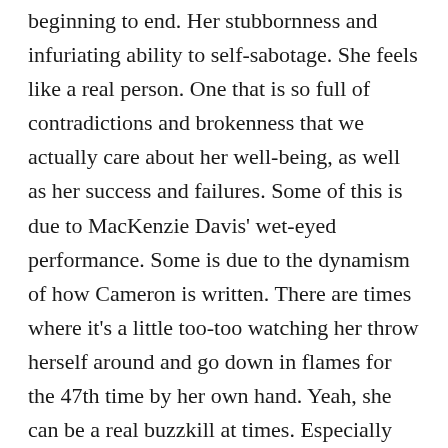beginning to end. Her stubbornness and infuriating ability to self-sabotage. She feels like a real person. One that is so full of contradictions and brokenness that we actually care about her well-being, as well as her success and failures. Some of this is due to MacKenzie Davis' wet-eyed performance. Some is due to the dynamism of how Cameron is written. There are times where it's a little too-too watching her throw herself around and go down in flames for the 47th time by her own hand. Yeah, she can be a real buzzkill at times. Especially after Gordon becomes the happy tech warrior and we get treated to two seasons of McNairy's goofy grin. But she is, by far, the one who best represents what I think the series is going for. And I like the way that series is the word I distort...